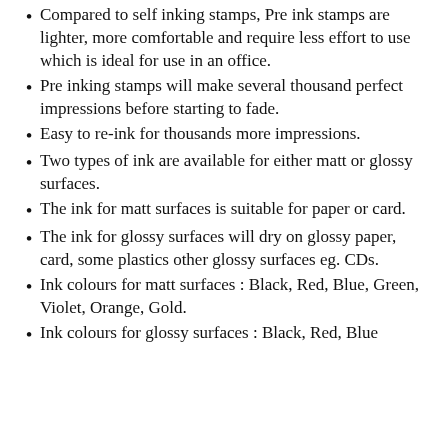Compared to self inking stamps, Pre ink stamps are lighter, more comfortable and require less effort to use which is ideal for use in an office.
Pre inking stamps will make several thousand perfect impressions before starting to fade.
Easy to re-ink for thousands more impressions.
Two types of ink are available for either matt or glossy surfaces.
The ink for matt surfaces is suitable for paper or card.
The ink for glossy surfaces will dry on glossy paper, card, some plastics other glossy surfaces eg. CDs.
Ink colours for matt surfaces : Black, Red, Blue, Green, Violet, Orange, Gold.
Ink colours for glossy surfaces : Black, Red, Blue